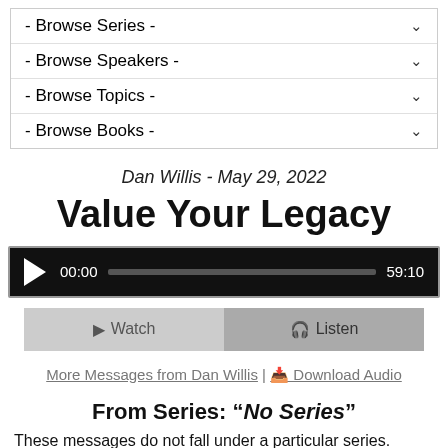- Browse Series -
- Browse Speakers -
- Browse Topics -
- Browse Books -
Dan Willis - May 29, 2022
Value Your Legacy
[Figure (other): Audio player with play button, time 00:00, progress bar, and duration 59:10]
Watch | Listen buttons
More Messages from Dan Willis | Download Audio
From Series: "No Series"
These messages do not fall under a particular series.